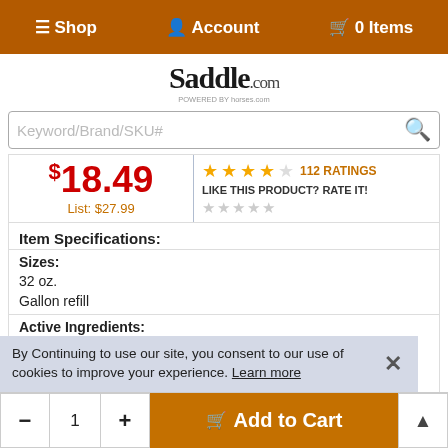☰ Shop   👤 Account   🛒 0 Items
Saddle.com
Keyword/Brand/SKU#
$18.49  List: $27.99  ★★★★☆ 112 RATINGS  LIKE THIS PRODUCT? RATE IT!
Item Specifications:
Sizes:
32 oz.
Gallon refill
Active Ingredients:
Pyrethrins: 0.1%
*Piperonyl Butoxide, Technical: 1.0%
Butoxypolypropylene, Glycol: 15.0%
By Continuing to use our site, you consent to our use of cookies to improve your experience. Learn more
- 1 + 🛒 Add to Cart ▲